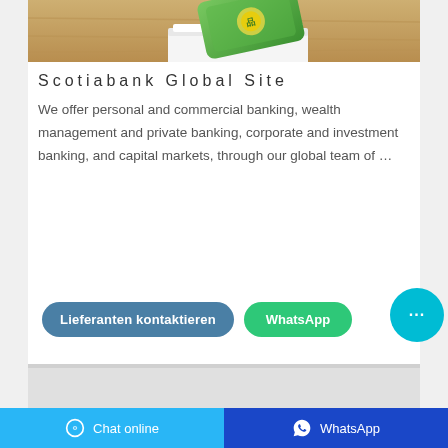[Figure (photo): Product photo showing a green packaged item (possibly tissue/wipes) on a wooden table surface, with white tissue visible below]
Scotiabank Global Site
We offer personal and commercial banking, wealth management and private banking, corporate and investment banking, and capital markets, through our global team of …
[Figure (screenshot): Two buttons: 'Lieferanten kontaktieren' (blue/teal pill button) and 'WhatsApp' (green pill button), plus a cyan circular chat bubble icon with ellipsis]
[Figure (photo): Partially visible product image at bottom of card, light gray/white background]
Chat online   WhatsApp